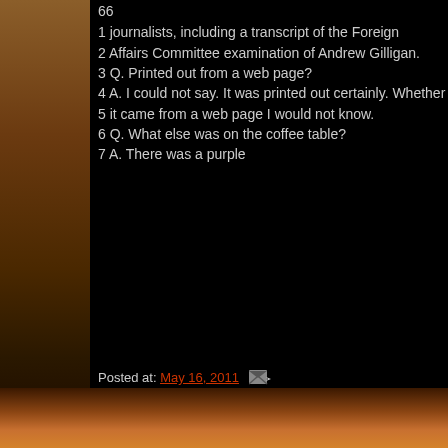66
1 journalists, including a transcript of the Foreign
2 Affairs Committee examination of Andrew Gilligan.
3 Q. Printed out from a web page?
4 A. I could not say. It was printed out certainly. Whether
5 it came from a web page I would not know.
6 Q. What else was on the coffee table?
7 A. There was a purple
Posted at: May 16, 2011   Topics: Dr David Kelly
Newer Post   Home